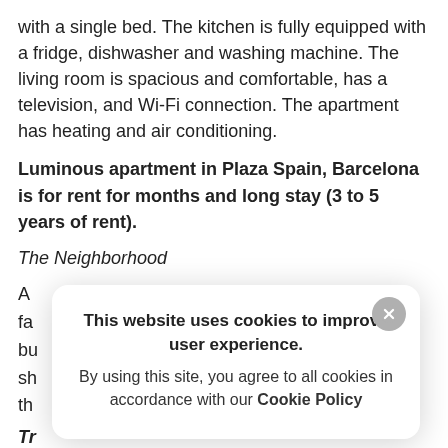with a single bed. The kitchen is fully equipped with a fridge, dishwasher and washing machine. The living room is spacious and comfortable, has a television, and Wi-Fi connection. The apartment has heating and air conditioning.
Luminous apartment in Plaza Spain, Barcelona is for rent for months and long stay (3 to 5 years of rent).
The Neighborhood
A fa bu sh th
Tr
So
[Figure (screenshot): Cookie consent popup overlay with close button (X), bold title 'This website uses cookies to improve user experience.', and body text 'By using this site, you agree to all cookies in accordance with our Cookie Policy']